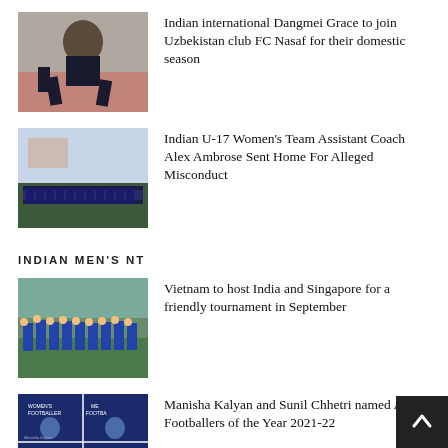[Figure (photo): Female footballer running on a track in dark kit]
Indian international Dangmei Grace to join Uzbekistan club FC Nasaf for their domestic season
[Figure (photo): Group team photo of women's football team lined up on a pitch with stadium in background]
Indian U-17 Women's Team Assistant Coach Alex Ambrose Sent Home For Alleged Misconduct
INDIAN MEN'S NT
[Figure (photo): India men's football team players in blue kits celebrating on pitch]
Vietnam to host India and Singapore for a friendly tournament in September
[Figure (photo): AIFF Footballers of the Year 2021-22 award graphic showing Manisha Kalyan and Sunil Chhetri]
Manisha Kalyan and Sunil Chhetri named AIFF Footballers of the Year 2021-22